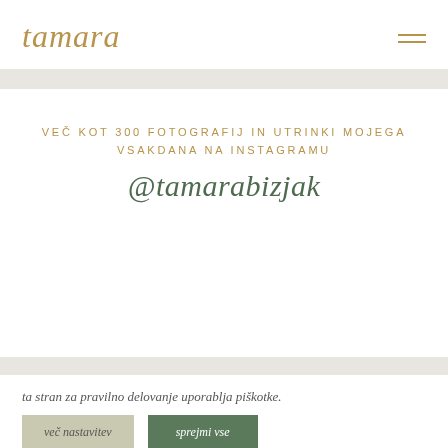tamara
VEČ KOT 300 FOTOGRAFIJ IN UTRINKI MOJEGA VSAKDANA NA INSTAGRAMU
@tamarabizjak
ta stran za pravilno delovanje uporablja piškotke.
več nastavitev | sprejmi vse